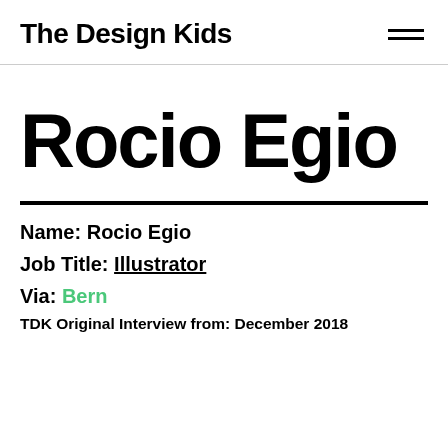The Design Kids
Rocio Egio
Name: Rocio Egio
Job Title: Illustrator
Via: Bern
TDK Original Interview from: December 2018